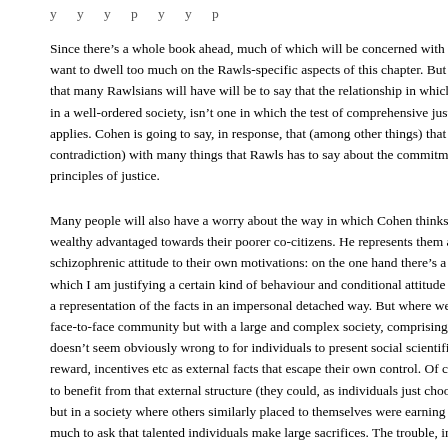y y y p y y p
Since there’s a whole book ahead, much of which will be concerned with R want to dwell too much on the Rawls-specific aspects of this chapter. But l that many Rawlsians will have will be to say that the relationship in which in a well-ordered society, isn’t one in which the test of comprehensive just applies. Cohen is going to say, in response, that (among other things) that i contradiction) with many things that Rawls has to say about the commitme principles of justice.
Many people will also have a worry about the way in which Cohen thinks wealthy advantaged towards their poorer co-citizens. He represents them a schizophrenic attitude to their own motivations: on the one hand there’s a h which I am justifying a certain kind of behaviour and conditional attitude t a representation of the facts in an impersonal detached way. But where we face-to-face community but with a large and complex society, comprising s doesn’t seem obviously wrong to for individuals to present social scientific reward, incentives etc as external facts that escape their own control. Of co to benefit from that external structure (they could, as individuals just choos but in a society where others similarly placed to themselves were earning h much to ask that talented individuals make large sacrifices. The trouble, in